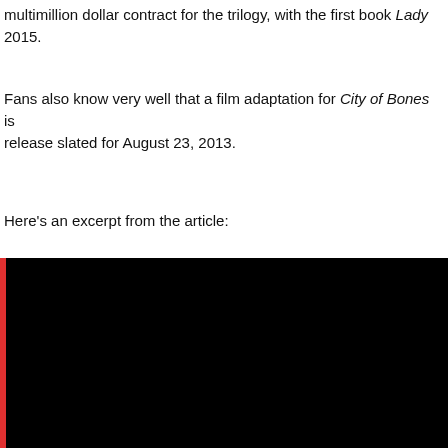multimillion dollar contract for the trilogy, with the first book Lady... 2015.
Fans also know very well that a film adaptation for City of Bones is release slated for August 23, 2013.
Here’s an excerpt from the article:
[Figure (screenshot): A dark/black box with a red left border representing a quoted article excerpt block, with faint gray text on black background.]